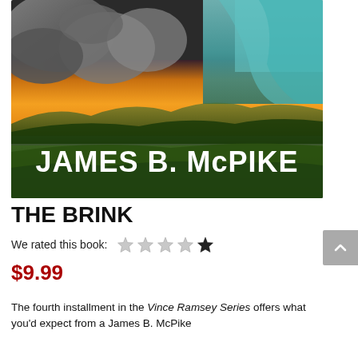[Figure (photo): Book cover for The Brink by James B. McPike showing a dramatic landscape with rocks, waterfall, sunset sky, mountains, and green hills. The author name JAMES B. McPIKE is displayed in bold white text across the lower portion of the cover.]
THE BRINK
We rated this book: [2 out of 5 stars]
$9.99
The fourth installment in the Vince Ramsey Series offers what you'd expect from a James B. McPike